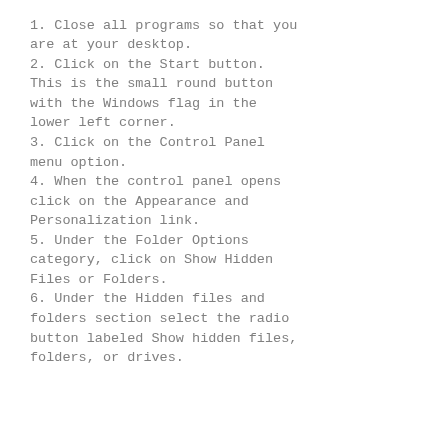Step 2: Show all hidden files.
1. Close all programs so that you are at your desktop.
2. Click on the Start button. This is the small round button with the Windows flag in the lower left corner.
3. Click on the Control Panel menu option.
4. When the control panel opens click on the Appearance and Personalization link.
5. Under the Folder Options category, click on Show Hidden Files or Folders.
6. Under the Hidden files and folders section select the radio button labeled Show hidden files, folders, or drives.